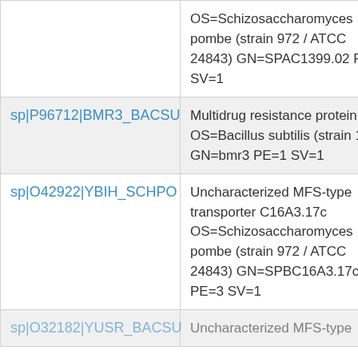| ID | Description |
| --- | --- |
|  | OS=Schizosaccharomyces pombe (strain 972 / ATCC 24843) GN=SPAC1399.02 PE=3 SV=1 |
| sp|P96712|BMR3_BACSU | Multidrug resistance protein 3 OS=Bacillus subtilis (strain 168) GN=bmr3 PE=1 SV=1 |
| sp|O42922|YBIH_SCHPO | Uncharacterized MFS-type transporter C16A3.17c OS=Schizosaccharomyces pombe (strain 972 / ATCC 24843) GN=SPBC16A3.17c PE=3 SV=1 |
| sp|O32182|YUSR_BACSU | Uncharacterized MFS-type |